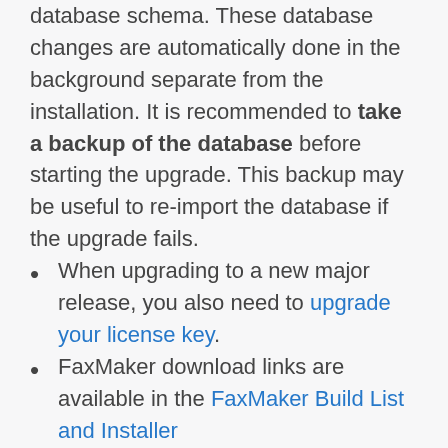database schema. These database changes are automatically done in the background separate from the installation. It is recommended to take a backup of the database before starting the upgrade. This backup may be useful to re-import the database if the upgrade fails.
When upgrading to a new major release, you also need to upgrade your license key.
FaxMaker download links are available in the FaxMaker Build List and Installer